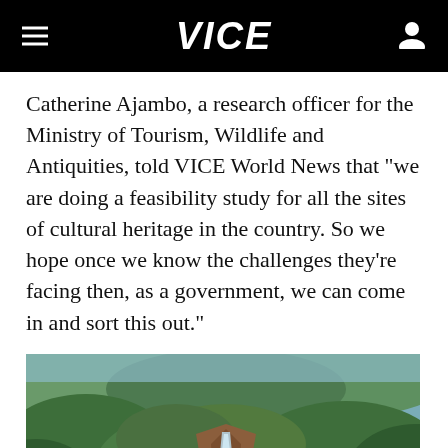VICE
Catherine Ajambo, a research officer for the Ministry of Tourism, Wildlife and Antiquities, told VICE World News that “we are doing a feasibility study for all the sites of cultural heritage in the country. So we hope once we know the challenges they're facing then, as a government, we can come in and sort this out.”
[Figure (photo): Aerial view of a lush green forested landscape with a waterfall visible in the center, surrounded by dense tropical vegetation and hills.]